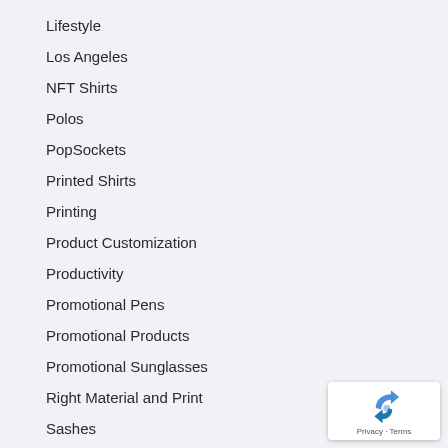Lifestyle
Los Angeles
NFT Shirts
Polos
PopSockets
Printed Shirts
Printing
Product Customization
Productivity
Promotional Pens
Promotional Products
Promotional Sunglasses
Right Material and Print
Sashes